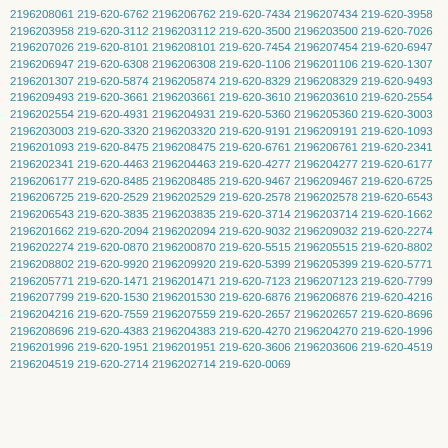2196208061 219-620-6762 2196206762 219-620-7434 2196207434 219-620-3958 2196203958 219-620-3112 2196203112 219-620-3500 2196203500 219-620-7026 2196207026 219-620-8101 2196208101 219-620-7454 2196207454 219-620-6947 2196206947 219-620-6308 2196206308 219-620-1106 2196201106 219-620-1307 2196201307 219-620-5874 2196205874 219-620-8329 2196208329 219-620-9493 2196209493 219-620-3661 2196203661 219-620-3610 2196203610 219-620-2554 2196202554 219-620-4931 2196204931 219-620-5360 2196205360 219-620-3003 2196203003 219-620-3320 2196203320 219-620-9191 2196209191 219-620-1093 2196201093 219-620-8475 2196208475 219-620-6761 2196206761 219-620-2341 2196202341 219-620-4463 2196204463 219-620-4277 2196204277 219-620-6177 2196206177 219-620-8485 2196208485 219-620-9467 2196209467 219-620-6725 2196206725 219-620-2529 2196202529 219-620-2578 2196202578 219-620-6543 2196206543 219-620-3835 2196203835 219-620-3714 2196203714 219-620-1662 2196201662 219-620-2094 2196202094 219-620-9032 2196209032 219-620-2274 2196202274 219-620-0870 2196200870 219-620-5515 2196205515 219-620-8802 2196208802 219-620-9920 2196209920 219-620-5399 2196205399 219-620-5771 2196205771 219-620-1471 2196201471 219-620-7123 2196207123 219-620-7799 2196207799 219-620-1530 2196201530 219-620-6876 2196206876 219-620-4216 2196204216 219-620-7559 2196207559 219-620-2657 2196202657 219-620-8696 2196208696 219-620-4383 2196204383 219-620-4270 2196204270 219-620-1996 2196201996 219-620-1951 2196201951 219-620-3606 2196203606 219-620-4519 2196204519 219-620-2714 2196202714 219-620-0069